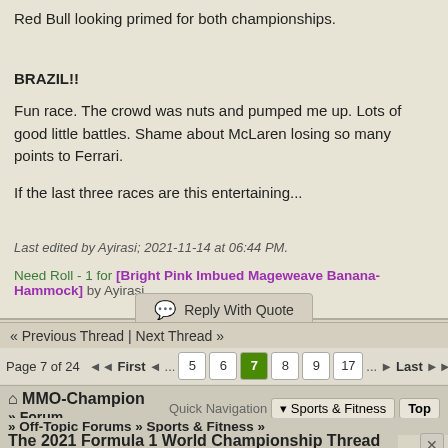Red Bull looking primed for both championships.
BRAZIL!!
Fun race. The crowd was nuts and pumped me up. Lots of good little battles. Shame about McLaren losing so many points to Ferrari.
If the last three races are this entertaining...
Last edited by Ayirasi; 2021-11-14 at 06:44 PM.
Need Roll - 1 for [Bright Pink Imbued Mageweave Banana-Hammock] by Ayirasi
Reply With Quote
« Previous Thread | Next Thread »
Page 7 of 24  First  ...  5  6  7  8  9  17  ...  Last
MMO-Champion Forum Quick Navigation Sports & Fitness Top
» Forum » Off-Topic Forums » Sports & Fitness »
The 2021 Formula 1 World Championship Thread
[Figure (photo): ULTA beauty advertisement banner showing makeup products and close-up eye photos with SHOP NOW text]